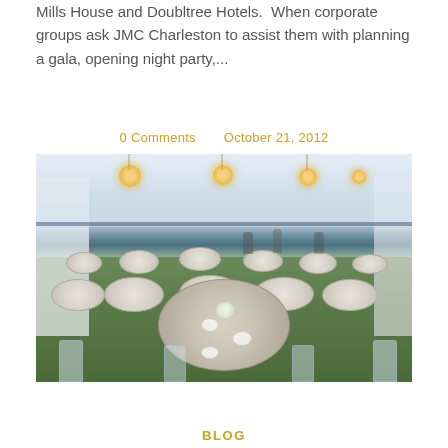Mills House and Doubltree Hotels. When corporate groups ask JMC Charleston to assist them with planning a gala, opening night party,...
0 Comments   October 21, 2012
[Figure (photo): Interior of an elegant event tent setup with crystal chandeliers hanging from the white tent ceiling, round tables covered with decorative linens, clear acrylic/ghost chairs, and floral centerpieces on green grass flooring. People visible in the background preparing the space.]
BLOG